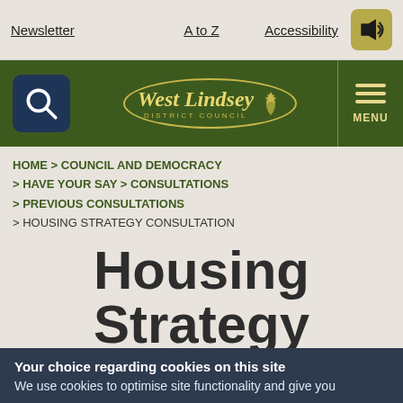Newsletter  A to Z  Accessibility
[Figure (logo): West Lindsey District Council logo in green header bar with search icon and menu button]
HOME > COUNCIL AND DEMOCRACY > HAVE YOUR SAY > CONSULTATIONS > PREVIOUS CONSULTATIONS > HOUSING STRATEGY CONSULTATION
Housing Strategy Consultation
Your choice regarding cookies on this site
We use cookies to optimise site functionality and give you